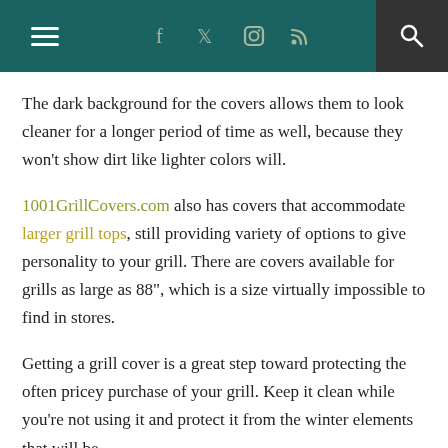Navigation bar with hamburger menu, social icons (f, Twitter, Instagram, RSS), and search icon
The dark background for the covers allows them to look cleaner for a longer period of time as well, because they won't show dirt like lighter colors will.
1001GrillCovers.com also has covers that accommodate larger grill tops, still providing variety of options to give personality to your grill. There are covers available for grills as large as 88", which is a size virtually impossible to find in stores.
Getting a grill cover is a great step toward protecting the often pricey purchase of your grill. Keep it clean while you're not using it and protect it from the winter elements that will be